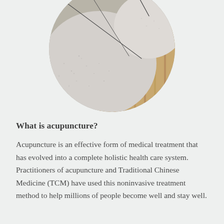[Figure (photo): Close-up circular cropped photo of acupuncture needles inserted into skin or a pale textured surface, with wooden background visible. Thin needles are shown at angles against a light grey/white rounded surface.]
What is acupuncture?
Acupuncture is an effective form of medical treatment that has evolved into a complete holistic health care system. Practitioners of acupuncture and Traditional Chinese Medicine (TCM) have used this noninvasive treatment method to help millions of people become well and stay well.